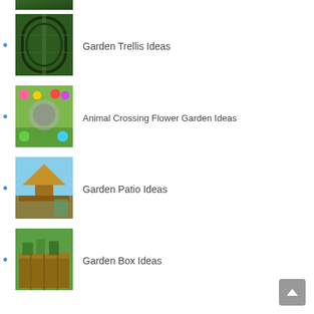[Figure (photo): Partial top of an image, cropped at the top of the page]
Garden Trellis Ideas
Animal Crossing Flower Garden Ideas
Garden Patio Ideas
Garden Box Ideas